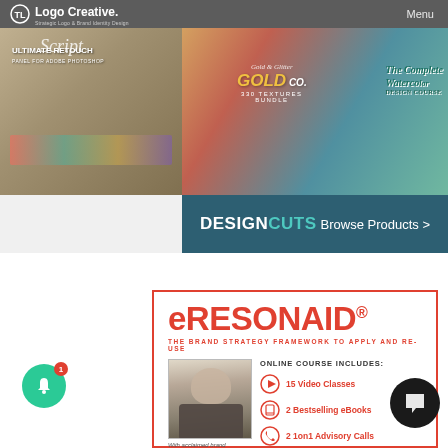Logo Creative. Strategic Logo & Brand Identity Design
[Figure (screenshot): Design Cuts promotional banner with design bundles including Gold Co, Ultimate Retouch, and Watercolor design items]
[Figure (screenshot): DesignCuts dark teal banner with Browse Products > call to action]
[Figure (infographic): eRESONAID brand strategy course advertisement with photo of instructor, text: THE BRAND STRATEGY FRAMEWORK TO APPLY AND RE-USE, ONLINE COURSE INCLUDES: 15 Video Classes, 2 Bestselling eBooks, 2 1on1 Advisory Calls, With acclaimed brand...]